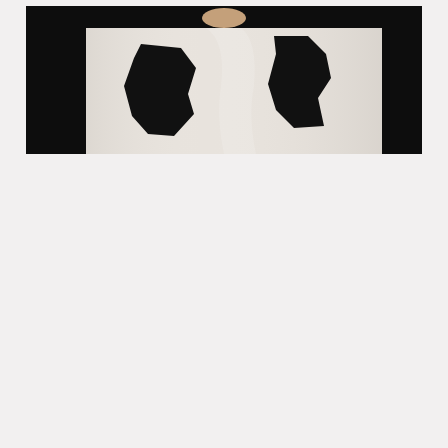[Figure (photo): A cropped photograph showing a person wearing a white garment or oversized white clothing with bold black ink/paint markings or graphic print. The background is dark/black. The image shows the torso area of the clothing with abstract black brushstroke-style marks. Only the lower portion of the person's face/chin is visible at the top.]